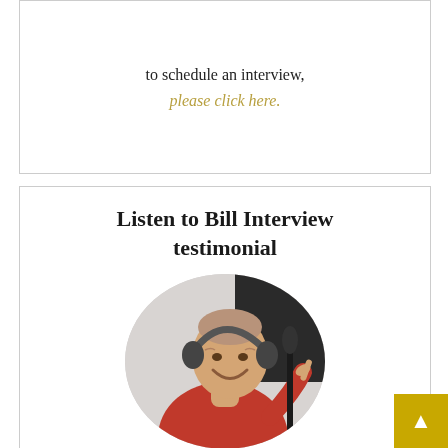to schedule an interview,
please click here.
Listen to Bill Interview testimonial
[Figure (photo): A man wearing headphones and a red shirt, smiling and giving a thumbs up, sitting in front of a microphone in a recording studio. Photo shown in a circular crop.]